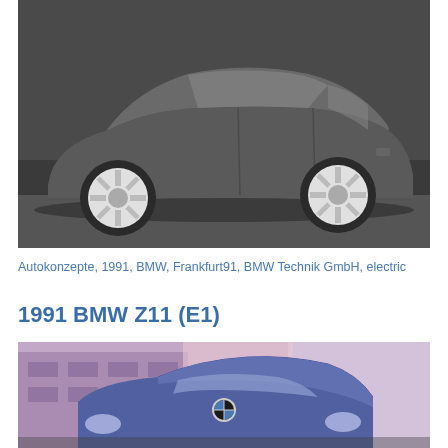[Figure (photo): Black and white side profile photograph of a BMW concept car with smooth aerodynamic body and white hubcaps, parked in front of a building]
Autokonzepte, 1991, BMW, Frankfurt91, BMW Technik GmbH, electric
1991 BMW Z11 (E1)
[Figure (photo): Color photograph showing the front/rear view of a purple/blue 1991 BMW Z11 (E1) electric concept car in an urban setting]